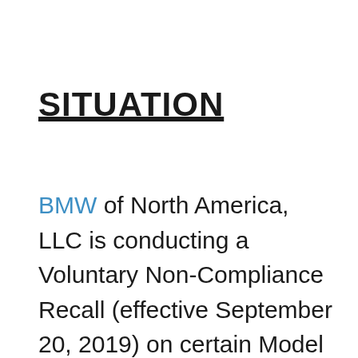SITUATION
BMW of North America, LLC is conducting a Voluntary Non-Compliance Recall (effective September 20, 2019) on certain Model Year 2018 through 2020 BMW vehicles that were produced between May 1, 2018 and September 27, 2019.  The rearview camera system may not fully conform to a Federal